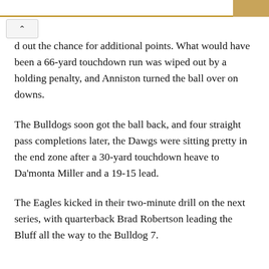d out the chance for additional points. What would have been a 66-yard touchdown run was wiped out by a holding penalty, and Anniston turned the ball over on downs.
The Bulldogs soon got the ball back, and four straight pass completions later, the Dawgs were sitting pretty in the end zone after a 30-yard touchdown heave to Da'monta Miller and a 19-15 lead.
The Eagles kicked in their two-minute drill on the next series, with quarterback Brad Robertson leading the Bluff all the way to the Bulldog 7.